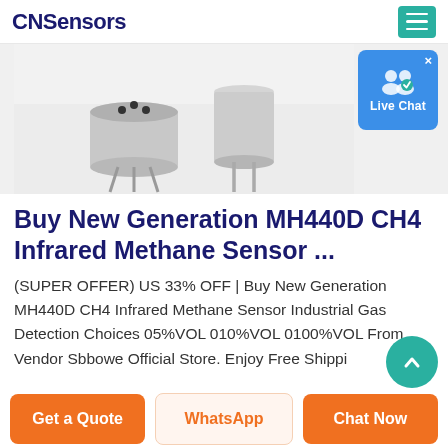CNSensors
[Figure (photo): MH440D CH4 Infrared Methane Sensor product photo showing two metallic cylindrical sensors with protruding pins against a white/light grey background. Also shows a Live Chat badge overlay in the top right.]
Buy New Generation MH440D CH4 Infrared Methane Sensor ...
(SUPER OFFER) US 33% OFF | Buy New Generation MH440D CH4 Infrared Methane Sensor Industrial Gas Detection Choices 05%VOL 010%VOL 0100%VOL From Vendor Sbbowe Official Store. Enjoy Free Shippi...